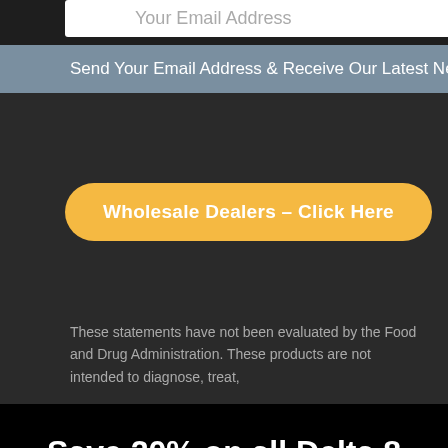Your Email Address
Send Your Email Address & Receive Our Latest News & Updates
Wholesale Dealers – Click Here
These statements have not been evaluated by the Food and Drug Administration. These products are not intended to diagnose, treat,
Save 20% on all Delta 8 Gummies, Use code "SAVE 20"  Shop Now!